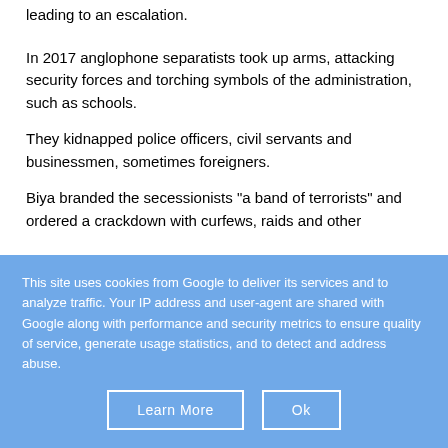leading to an escalation.
In 2017 anglophone separatists took up arms, attacking security forces and torching symbols of the administration, such as schools.
They kidnapped police officers, civil servants and businessmen, sometimes foreigners.
Biya branded the secessionists "a band of terrorists" and ordered a crackdown with curfews, raids and other
This site uses cookies from Google to deliver its services and to analyze traffic. Your IP address and user-agent are shared with Google along with performance and security metrics to ensure quality of service, generate usage statistics, and to detect and address abuse.
Learn More
Ok